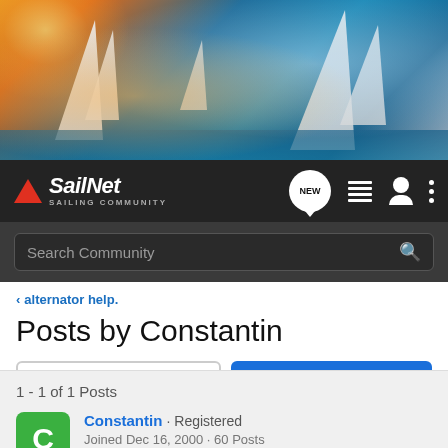[Figure (photo): Hero banner photo of sailboats racing on blue water with sun glare, white sails prominent]
SailNet SAILING COMMUNITY — navigation bar with NEW, list, user, and menu icons, and Search Community search bar
< alternator help.
Posts by Constantin
→ Jump to Latest    ⊕ Follow
1 - 1 of 1 Posts
Constantin · Registered
Joined Dec 16, 2000 · 60 Posts